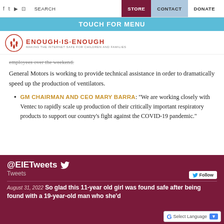f  t  yt  ig   SEARCH   STORE   CONTACT   DONATE
TOUCH FOR MENU
[Figure (logo): Enough Is Enough logo - making the internet safe for children and families]
employees over the weekend.
General Motors is working to provide technical assistance in order to dramatically speed up the production of ventilators.
GM CHAIRMAN AND CEO MARY BARRA: "We are working closely with Ventec to rapidly scale up production of their critically important respiratory products to support our country's fight against the COVID-19 pandemic."
@EIETweets  Tweets
August 31, 2022 So glad this 11-year old girl was found safe after being found with a 19-year-old man who she'd
[Figure (screenshot): Select Language Google Translate widget]